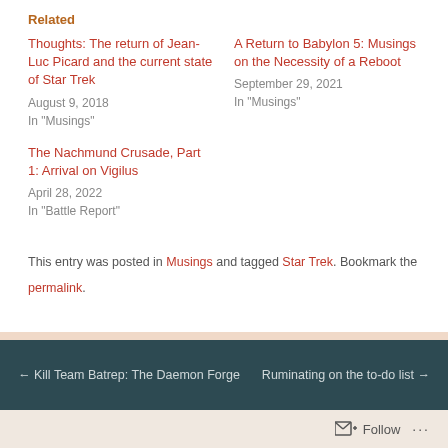Related
Thoughts: The return of Jean-Luc Picard and the current state of Star Trek
August 9, 2018
In "Musings"
A Return to Babylon 5: Musings on the Necessity of a Reboot
September 29, 2021
In "Musings"
The Nachmund Crusade, Part 1: Arrival on Vigilus
April 28, 2022
In "Battle Report"
This entry was posted in Musings and tagged Star Trek. Bookmark the permalink.
← Kill Team Batrep: The Daemon Forge    Ruminating on the to-do list →